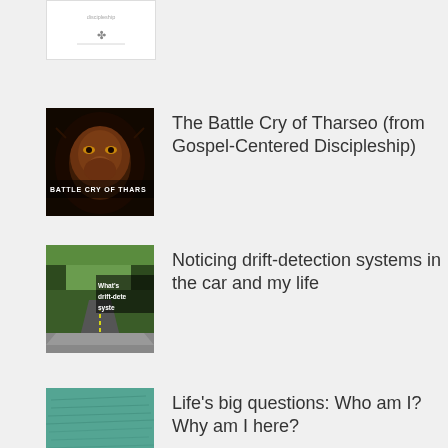[Figure (illustration): Partial view of a white book/document thumbnail with a small symbol at bottom center]
[Figure (photo): Close-up of a lion's face with dark mane; text overlay reads BATTLE CRY OF THARS]
The Battle Cry of Tharseo (from Gospel-Centered Discipleship)
[Figure (photo): Road through forest viewed from inside car; overlay text reads What's drift-detection syste]
Noticing drift-detection systems in the car and my life
[Figure (illustration): Teal/green background with handwriting texture; text reads I am created]
Life's big questions: Who am I? Why am I here?